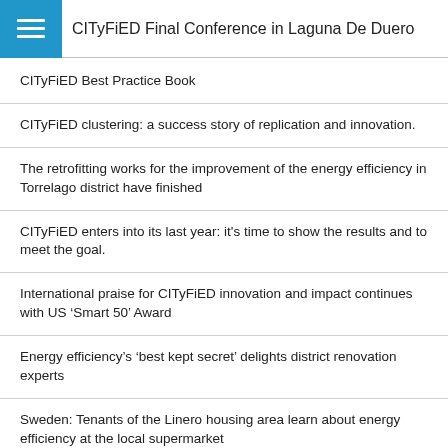CITyFiED Final Conference in Laguna De Duero
CITyFiED Best Practice Book
CITyFiED clustering: a success story of replication and innovation.
The retrofitting works for the improvement of the energy efficiency in Torrelago district have finished
CITyFiED enters into its last year: it's time to show the results and to meet the goal.
International praise for CITyFiED innovation and impact continues with US ‘Smart 50’ Award
Energy efficiency’s ‘best kept secret’ delights district renovation experts
Sweden: Tenants of the Linero housing area learn about energy efficiency at the local supermarket
Accelerating sustainable urban renovation: a pathway for success